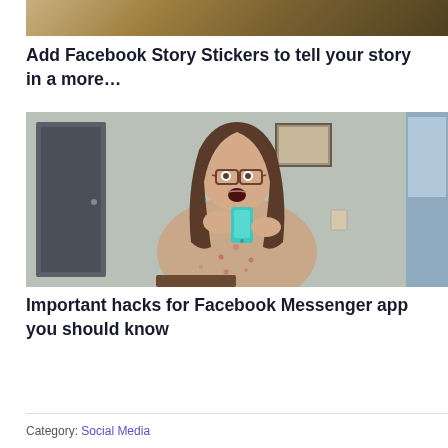[Figure (photo): Partial photo of a person holding a phone, cropped at top]
Add Facebook Story Stickers to tell your story in a more…
[Figure (photo): Woman with glasses and long brown hair, mouth open in surprise, holding a teal smartphone indoors]
Important hacks for Facebook Messenger app you should know
Category: Social Media